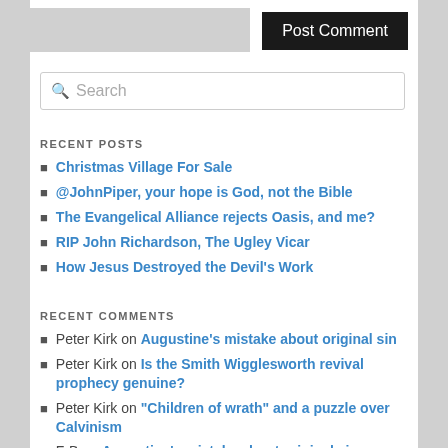[Figure (screenshot): Post Comment button on dark background, top right of page]
[Figure (screenshot): Search input box with magnifying glass icon and placeholder text 'Search']
RECENT POSTS
Christmas Village For Sale
@JohnPiper, your hope is God, not the Bible
The Evangelical Alliance rejects Oasis, and me?
RIP John Richardson, The Ugley Vicar
How Jesus Destroyed the Devil's Work
RECENT COMMENTS
Peter Kirk on Augustine's mistake about original sin
Peter Kirk on Is the Smith Wigglesworth revival prophecy genuine?
Peter Kirk on "Children of wrath" and a puzzle over Calvinism
FrB on Augustine's mistake about original sin